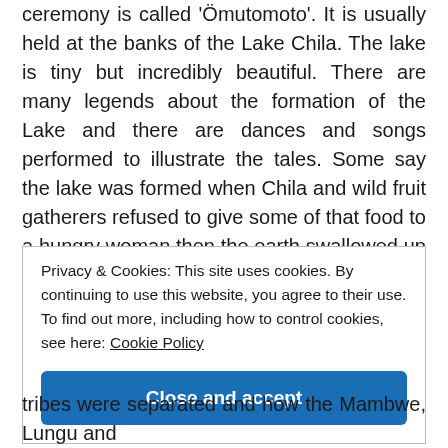ceremony is called 'Ömutomoto'. It is usually held at the banks of the Lake Chila. The lake is tiny but incredibly beautiful. There are many legends about the formation of the Lake and there are dances and songs performed to illustrate the tales. Some say the lake was formed when Chila and wild fruit gatherers refused to give some of that food to a hungry woman then the earth swallowed up the greedy Chila and his village and a lake was placed where they used to be. The lake is not big
Privacy & Cookies: This site uses cookies. By continuing to use this website, you agree to their use. To find out more, including how to control cookies, see here: Cookie Policy
Close and accept
tribes were separated and how the Mambwe, Lungu and